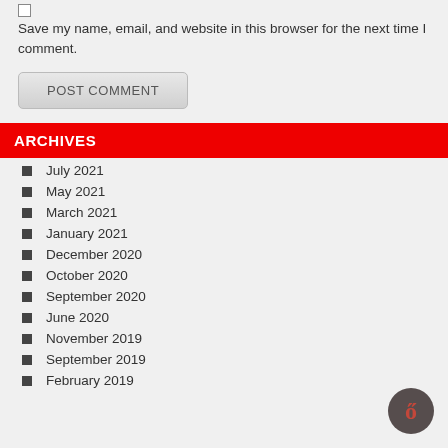Save my name, email, and website in this browser for the next time I comment.
POST COMMENT
ARCHIVES
July 2021
May 2021
March 2021
January 2021
December 2020
October 2020
September 2020
June 2020
November 2019
September 2019
February 2019